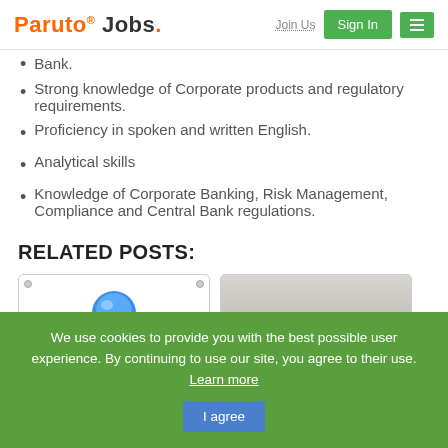Paruto® Jobs. | Join Us | Sign In
Bank.
Strong knowledge of Corporate products and regulatory requirements.
Proficiency in spoken and written English.
Analytical skills
Knowledge of Corporate Banking, Risk Management, Compliance and Central Bank regulations.
RELATED POSTS:
[Figure (illustration): Job post card with a blue pushpin on a yellow sticky note]
[Figure (illustration): Card with Fellowship banner text on dark background]
We use cookies to provide you with the best possible user experience. By continuing to use our site, you agree to their use. Learn more | I agree